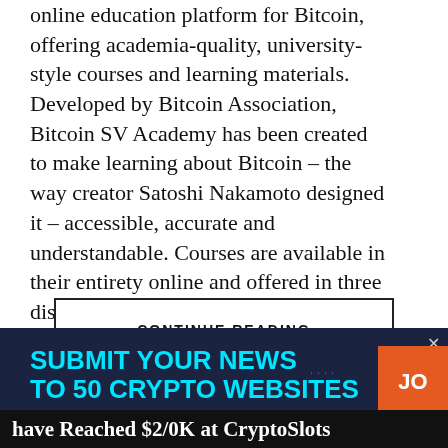online education platform for Bitcoin, offering academia-quality, university-style courses and learning materials. Developed by Bitcoin Association, Bitcoin SV Academy has been created to make learning about Bitcoin – the way creator Satoshi Nakamoto designed it – accessible, accurate and understandable. Courses are available in their entirety online and offered in three distinct streams:
Bitcoin Theory – covers the design of Bitcoin as a system of...
CONTINUE READING
[Figure (infographic): Advertisement banner with dark navy background. Text reads 'SUBMIT YOUR NEWS TO 50 CRYPTO WEBSITES' in bold cyan. Orange box on right with text 'JO'. Close button (x) at top right.]
have Reached $2/0K at CryptoSlots